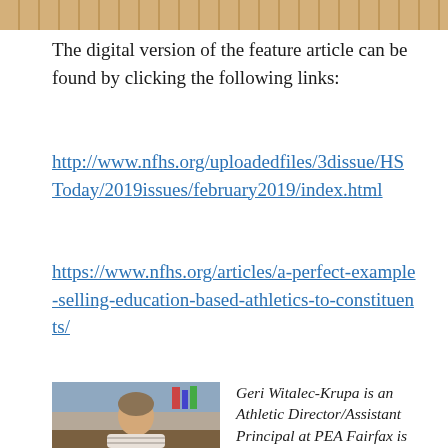[Figure (photo): Top portion of a photo showing a wooden floor surface with a dark red/maroon stripe, appearing to be a gymnasium floor.]
The digital version of the feature article can be found by clicking the following links:
http://www.nfhs.org/uploadedfiles/3dissue/HSToday/2019issues/february2019/index.html
https://www.nfhs.org/articles/a-perfect-example-selling-education-based-athletics-to-constituents/
[Figure (photo): Portrait photo of Geri Witalec-Krupa, a woman seated at a desk smiling at the camera, wearing a striped top.]
Geri Witalec-Krupa is an Athletic Director/Assistant Principal at PEA Fairfax is